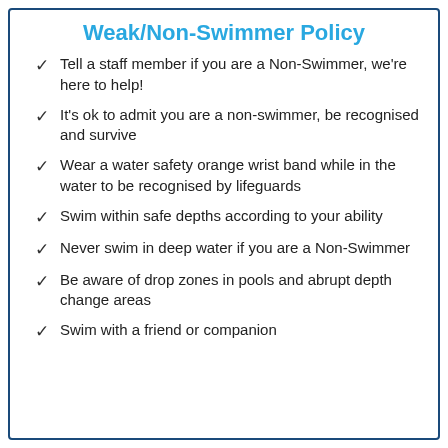Weak/Non-Swimmer Policy
Tell a staff member if you are a Non-Swimmer, we're here to help!
It's ok to admit you are a non-swimmer, be recognised and survive
Wear a water safety orange wrist band while in the water to be recognised by lifeguards
Swim within safe depths according to your ability
Never swim in deep water if you are a Non-Swimmer
Be aware of drop zones in pools and abrupt depth change areas
Swim with a friend or companion